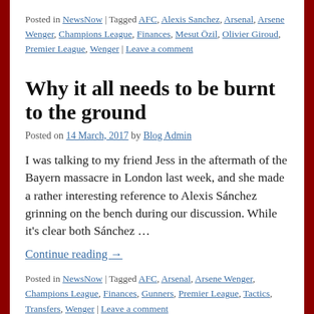Posted in NewsNow | Tagged AFC, Alexis Sanchez, Arsenal, Arsene Wenger, Champions League, Finances, Mesut Özil, Olivier Giroud, Premier League, Wenger | Leave a comment
Why it all needs to be burnt to the ground
Posted on 14 March, 2017 by Blog Admin
I was talking to my friend Jess in the aftermath of the Bayern massacre in London last week, and she made a rather interesting reference to Alexis Sánchez grinning on the bench during our discussion. While it's clear both Sánchez …
Continue reading →
Posted in NewsNow | Tagged AFC, Arsenal, Arsene Wenger, Champions League, Finances, Gunners, Premier League, Tactics, Transfers, Wenger | Leave a comment
Is Arsène Wenger leaving Arsenal s